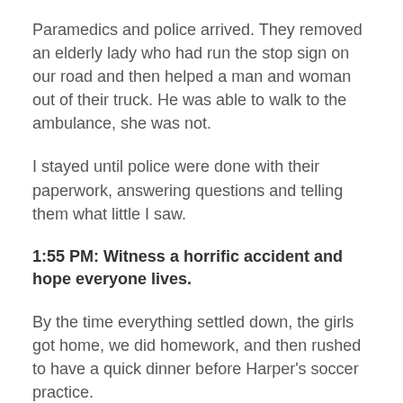Paramedics and police arrived. They removed an elderly lady who had run the stop sign on our road and then helped a man and woman out of their truck. He was able to walk to the ambulance, she was not.
I stayed until police were done with their paperwork, answering questions and telling them what little I saw.
1:55 PM: Witness a horrific accident and hope everyone lives.
By the time everything settled down, the girls got home, we did homework, and then rushed to have a quick dinner before Harper's soccer practice.
At around 5:00, I realized I hadn't heard from Chris that day. In the chaos of so many unexpected events, I lost